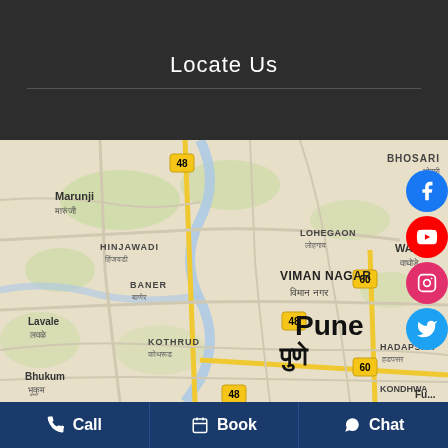Locate Us
[Figure (map): Google Maps view centered on Pune, India, showing neighborhoods including Marunji, Hinjawadi, Bhosari, Lohegaon, Viman Nagar, Baner, Kothrud, Lavale, Bhukum, Hadapsar, Kondhwa, with road numbers 48 and 60 visible.]
Call | Book | Chat